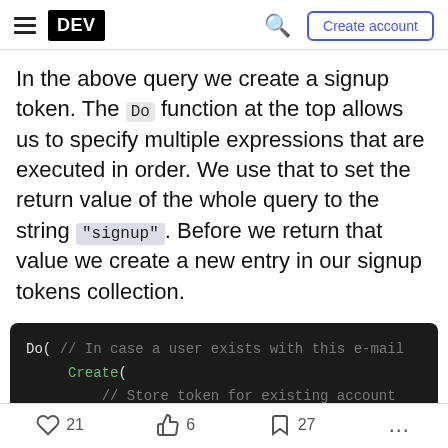DEV — Create account
In the above query we create a signup token. The Do function at the top allows us to specify multiple expressions that are executed in order. We use that to set the return value of the whole query to the string "signup". Before we return that value we create a new entry in our signup tokens collection.
[Figure (screenshot): Code block showing FaunaDB FQL query: Do( // In case a user exists with this e-mail Create( // Store token for existing account Collection("login_tokens"), { data: { token_hash: Var("token_hash"),]
21 likes  6 reactions  27 bookmarks